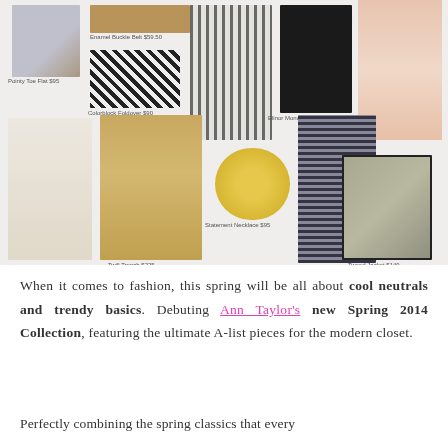[Figure (photo): Fashion collage showing Ann Taylor Spring 2014 Collection items: Pointy Toe Flat $95, Enamel Buckle Belt $59.50, Colorblock Foldover $90, patterned jacket outfit, Elinor Monocie Jacket $179, pink dress model with bag, cream outfit model, Twill Trench $225, Statement Necklace $95, patterned pants outfit model, Tweed Jacket $149]
When it comes to fashion, this spring will be all about cool neutrals and trendy basics. Debuting Ann Taylor's new Spring 2014 Collection, featuring the ultimate A-list pieces for the modern closet.
Perfectly combining the spring classics that every